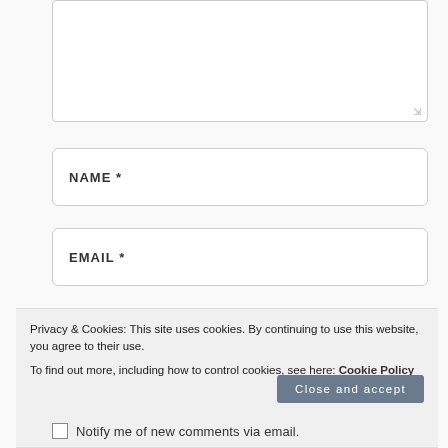[Figure (screenshot): Comment textarea input box (empty, with resize handle at bottom right)]
NAME *
EMAIL *
Privacy & Cookies: This site uses cookies. By continuing to use this website, you agree to their use. To find out more, including how to control cookies, see here: Cookie Policy
Close and accept
Notify me of new comments via email.